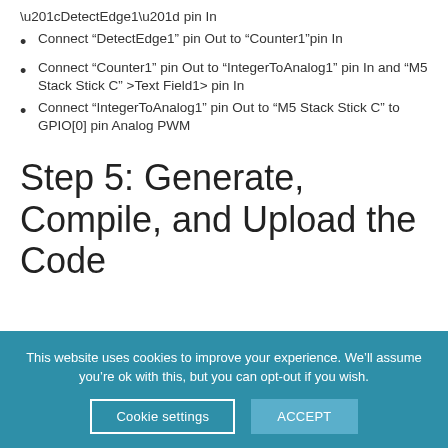“DetectEdge1” pin In
Connect “DetectEdge1” pin Out to “Counter1”pin In
Connect “Counter1” pin Out to “IntegerToAnalog1” pin In and “M5 Stack Stick C” >Text Field1> pin In
Connect “IntegerToAnalog1” pin Out to “M5 Stack Stick C” to GPIO[0] pin Analog PWM
Step 5: Generate, Compile, and Upload the Code
This website uses cookies to improve your experience. We’ll assume you’re ok with this, but you can opt-out if you wish.